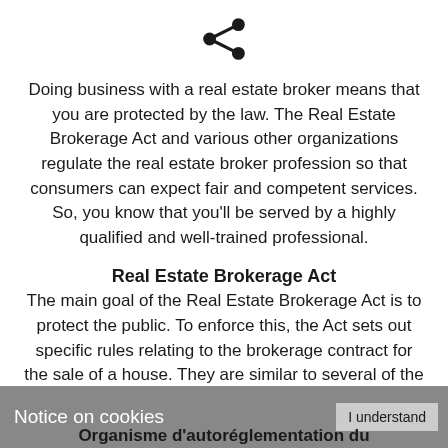[Figure (other): Share icon (three connected circles resembling a social sharing symbol)]
Doing business with a real estate broker means that you are protected by the law. The Real Estate Brokerage Act and various other organizations regulate the real estate broker profession so that consumers can expect fair and competent services. So, you know that you'll be served by a highly qualified and well-trained professional.
Real Estate Brokerage Act
The main goal of the Real Estate Brokerage Act is to protect the public. To enforce this, the Act sets out specific rules relating to the brokerage contract for the sale of a house. They are similar to several of the regulations found in the Consumer Protection Act.
Notice on cookies   I understand
Organisme d'autoréglementation du